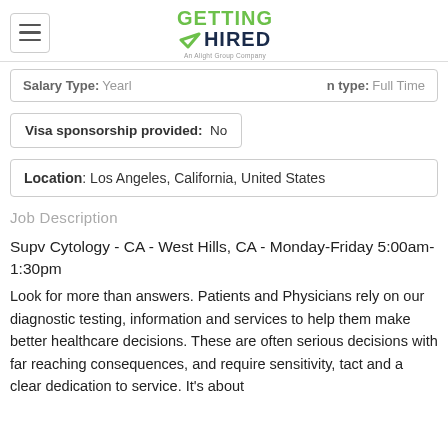[Figure (logo): Getting Hired logo with green checkmark, 'An Alight Group Company' subtitle]
Salary Type: Yearly   Position type: Full Time
Visa sponsorship provided: No
Location: Los Angeles, California, United States
Job Description
Supv Cytology - CA - West Hills, CA - Monday-Friday 5:00am-1:30pm
Look for more than answers. Patients and Physicians rely on our diagnostic testing, information and services to help them make better healthcare decisions. These are often serious decisions with far reaching consequences, and require sensitivity, tact and a clear dedication to service. It's about